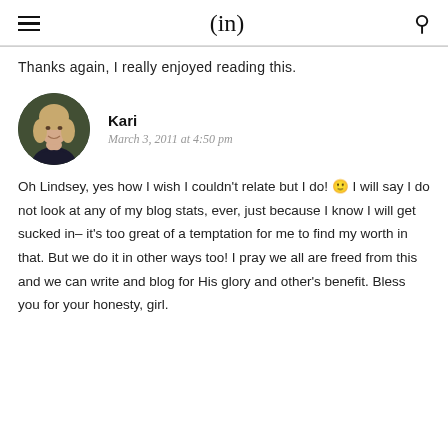(in)
Thanks again, I really enjoyed reading this.
[Figure (photo): Circular avatar photo of Kari, a woman with blonde hair wearing a dark top, against a blurred outdoor background.]
Kari
March 3, 2011 at 4:50 pm
Oh Lindsey, yes how I wish I couldn't relate but I do! 🙂 I will say I do not look at any of my blog stats, ever, just because I know I will get sucked in– it's too great of a temptation for me to find my worth in that. But we do it in other ways too! I pray we all are freed from this and we can write and blog for His glory and other's benefit. Bless you for your honesty, girl.